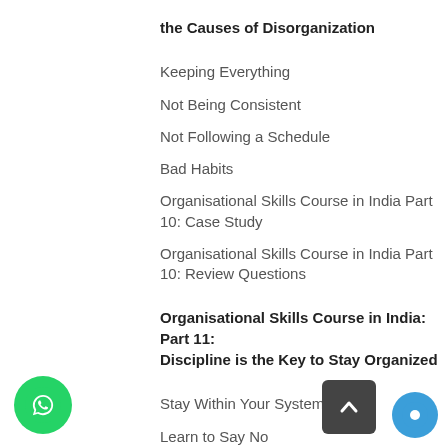the Causes of Disorganization
Keeping Everything
Not Being Consistent
Not Following a Schedule
Bad Habits
Organisational Skills Course in India Part 10: Case Study
Organisational Skills Course in India Part 10: Review Questions
Organisational Skills Course in India: Part 11: Discipline is the Key to Stay Organized
Stay Within Your Systems
Learn to Say No
Have Organization Be Part of Your Life
Plan for Tomorrow, Today
Organisational Skills Course in India Part 11: Case Study
Organisational Skills Course in India Part 11: Review Questions